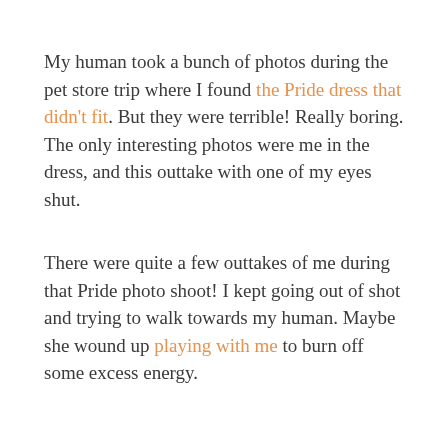My human took a bunch of photos during the pet store trip where I found the Pride dress that didn't fit. But they were terrible! Really boring. The only interesting photos were me in the dress, and this outtake with one of my eyes shut.
There were quite a few outtakes of me during that Pride photo shoot! I kept going out of shot and trying to walk towards my human. Maybe she wound up playing with me to burn off some excess energy.